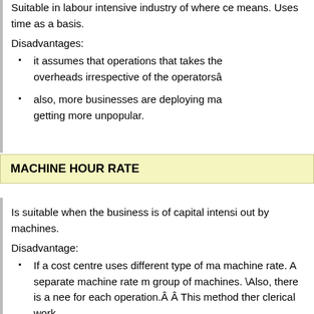Suitable in labour intensive industry of where certain means. Uses time as a basis.
Disadvantages:
it assumes that operations that takes the overheads irrespective of the operatorsâ
also, more businesses are deploying ma getting more unpopular.
MACHINE HOUR RATE
Is suitable when the business is of capital intensive out by machines.
Disadvantage:
If a cost centre uses different type of ma machine rate. A separate machine rate m group of machines. Also, there is a need for each operation.Â Â This method ther clerical work.